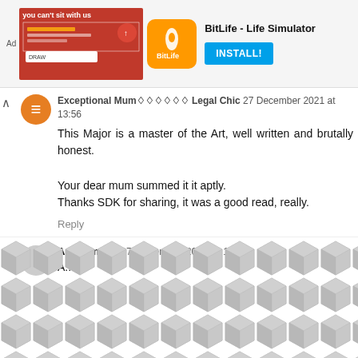[Figure (screenshot): Ad banner for BitLife - Life Simulator app with install button]
Exceptional Mum♦♦♦♦♦♦ Legal Chic 27 December 2021 at 13:56
This Major is a master of the Art, well written and brutally honest.

Your dear mum summed it it aptly.
Thanks SDK for sharing, it was a good read, really.
Reply
Anonymous 27 December 2021 at 14:04